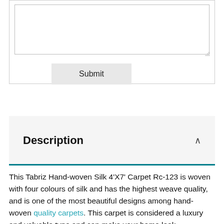[Figure (screenshot): A web form section with a textarea input box and a Submit button on a light gray background with border.]
Description
This Tabriz Hand-woven Silk 4'X7' Carpet Rc-123 is woven with four colours of silk and has the highest weave quality, and is one of the most beautiful designs among hand-woven quality carpets. This carpet is considered a luxury and valuable type and can make your home look extraordinary and glorious.